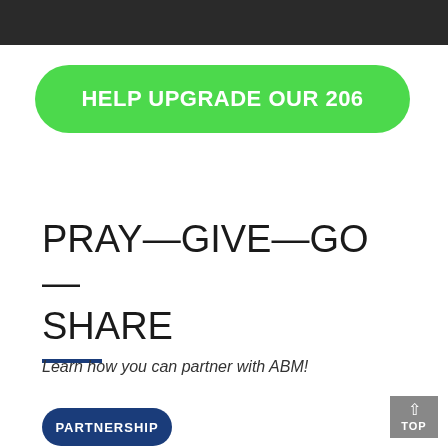[Figure (photo): Dark photograph strip at the top of the page]
HELP UPGRADE OUR 206
PRAY—GIVE—GO—SHARE
Learn how you can partner with ABM!
PARTNERSHIP